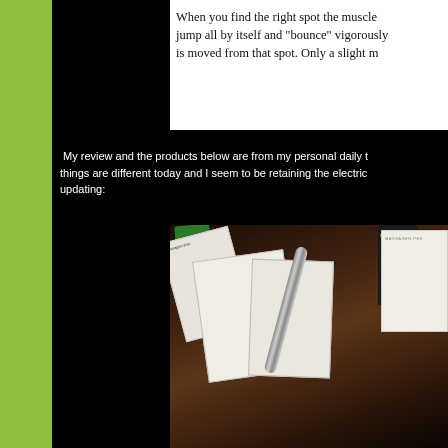[Figure (photo): Partial view of a text excerpt about finding muscle trigger points, white background with serif text]
My review and the products below are from my personal daily things are different today and I seem to be retaining the electro updating:
[Figure (photo): Photo of massage pen products laid out on a wooden surface, including product boxes, instruction booklets/brochures, a metal acupuncture/massage pen device, a bottle of MCT Coconut Oil, and other wellness products]